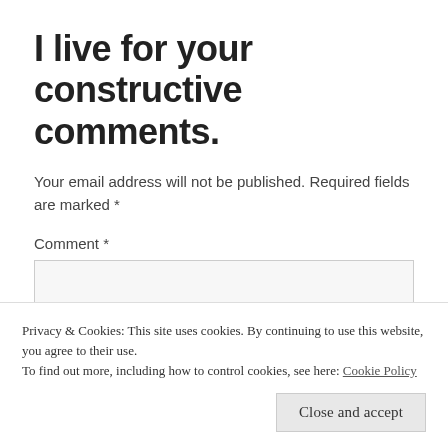I live for your constructive comments.
Your email address will not be published. Required fields are marked *
Comment *
Privacy & Cookies: This site uses cookies. By continuing to use this website, you agree to their use.
To find out more, including how to control cookies, see here: Cookie Policy
Close and accept